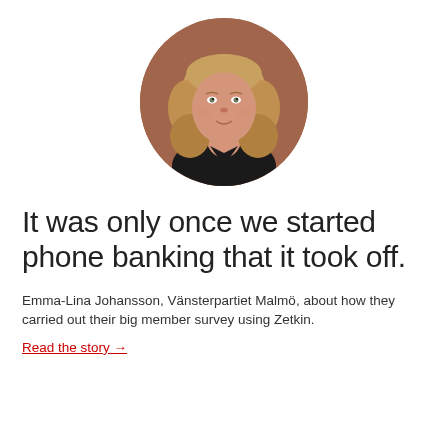[Figure (photo): Circular cropped headshot of Emma-Lina Johansson, a woman with wavy blonde hair, wearing a dark top, against a warm brown background.]
It was only once we started phone banking that it took off.
Emma-Lina Johansson, Vänsterpartiet Malmö, about how they carried out their big member survey using Zetkin.
Read the story →